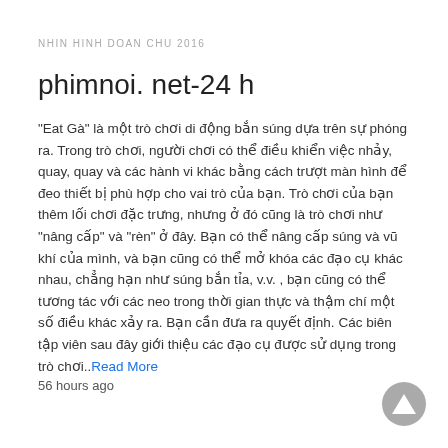NHIN HINH DOAN CHU 2016
phimnoi. net-24 h
"Eat Gà" là một trò chơi di động bắn súng dựa trên sự phóng ra. Trong trò chơi, người chơi có thể điều khiển việc nhảy, quay, quay và các hành vi khác bằng cách trượt màn hình để đeo thiết bị phù hợp cho vai trò của bạn. Trò chơi của bạn thêm lối chơi đặc trưng, nhưng ở đó cũng là trò chơi như "nâng cấp" và "rèn" ở đây. Bạn có thể nâng cấp súng và vũ khí của mình, và bạn cũng có thể mở khóa các đạo cụ khác nhau, chẳng hạn như súng bắn tỉa, v.v. , bạn cũng có thể tương tác với các neo trong thời gian thực và thậm chí một số điều khác xảy ra. Bạn cần đưa ra quyết định. Các biên tập viên sau đây giới thiệu các đạo cụ được sử dụng trong trò chơi..Read More
56 hours ago